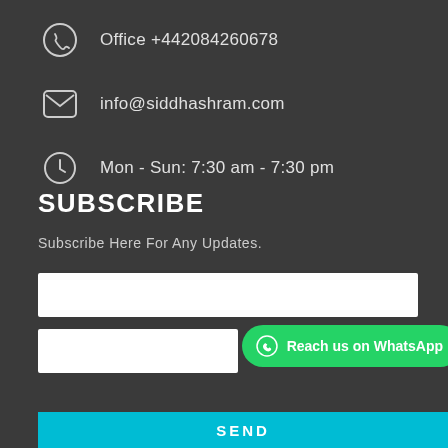Office +442084260678
info@siddhashram.com
Mon - Sun: 7:30 am - 7:30 pm
SUBSCRIBE
Subscribe Here For Any Updates.
[Figure (screenshot): Email input field (white rectangle)]
[Figure (screenshot): Second input field (white rectangle) with green WhatsApp button overlay reading 'Reach us on WhatsApp' with badge count of 1]
SEND